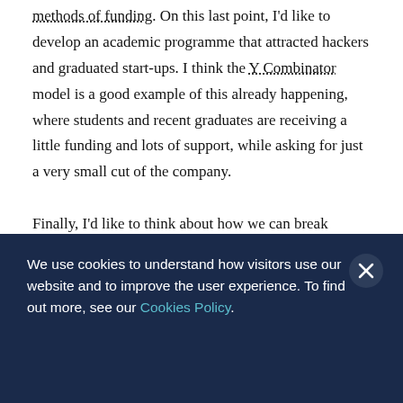methods of funding. On this last point, I'd like to develop an academic programme that attracted hackers and graduated start-ups. I think the Y Combinator model is a good example of this already happening, where students and recent graduates are receiving a little funding and lots of support, while asking for just a very small cut of the company.

Finally, I'd like to think about how we can break
We use cookies to understand how visitors use our website and to improve the user experience. To find out more, see our Cookies Policy.